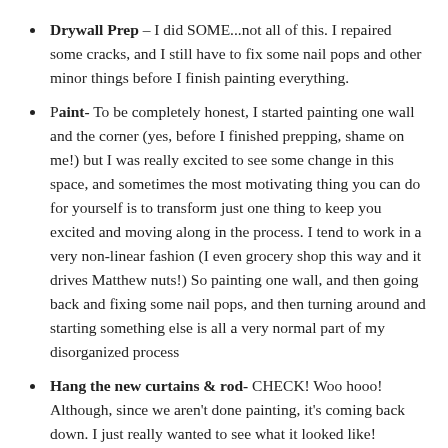Drywall Prep – I did SOME...not all of this. I repaired some cracks, and I still have to fix some nail pops and other minor things before I finish painting everything.
Paint- To be completely honest, I started painting one wall and the corner (yes, before I finished prepping, shame on me!) but I was really excited to see some change in this space, and sometimes the most motivating thing you can do for yourself is to transform just one thing to keep you excited and moving along in the process. I tend to work in a very non-linear fashion (I even grocery shop this way and it drives Matthew nuts!) So painting one wall, and then going back and fixing some nail pops, and then turning around and starting something else is all a very normal part of my disorganized process
Hang the new curtains & rod- CHECK! Woo hooo! Although, since we aren't done painting, it's coming back down. I just really wanted to see what it looked like!